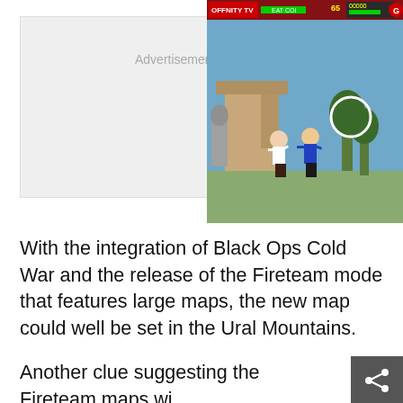[Figure (screenshot): Advertisement placeholder area (gray box with 'Advertisement' label) on the left, and a video game screenshot on the right showing a fighting game scene with two characters in combat, a HUD overlay with health bars and score.]
With the integration of Black Ops Cold War and the release of the Fireteam mode that features large maps, the new map could well be set in the Ural Mountains.
Another clue suggesting the Fireteam maps will be used to compose some of the new map are the names of the files within the game.
Ruka has the file name 'wz_forest' while Alpine has the file name 'wz_ski_slope' implying that